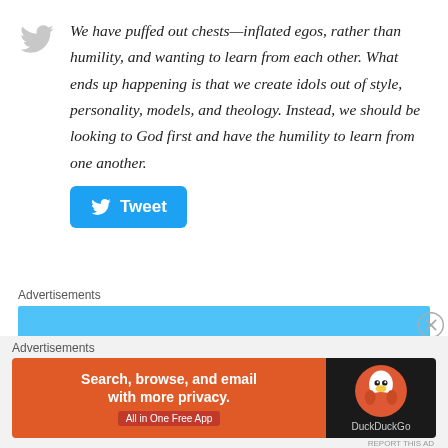We have puffed out chests—inflated egos, rather than humility, and wanting to learn from each other. What ends up happening is that we create idols out of style, personality, models, and theology. Instead, we should be looking to God first and have the humility to learn from one another.
[Figure (screenshot): Blue Tweet button with Twitter bird icon]
Advertisements
[Figure (screenshot): Light blue advertisement bar]
Advertisements
[Figure (screenshot): DuckDuckGo advertisement: Search, browse, and email with more privacy. All in One Free App]